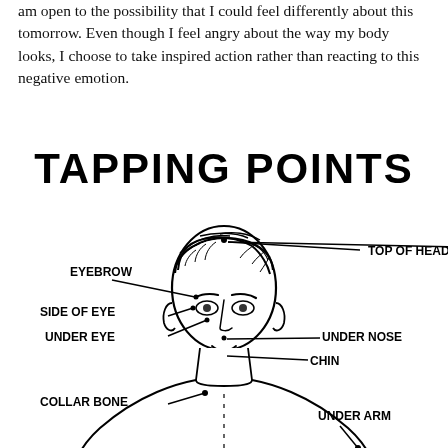am open to the possibility that I could feel differently about this tomorrow. Even though I feel angry about the way my body looks, I choose to take inspired action rather than reacting to this negative emotion.
[Figure (illustration): Diagram of EFT tapping points on a man's face and upper body. Labels point to: Top of Head (top of head), Eyebrow (start of eyebrow), Side of Eye (temple/side of eye), Under Eye (below eye), Under Nose (under nose), Chin (chin point), Collar Bone (collarbone), Under Arm (underarm area). Lines connect each label to the corresponding body point.]